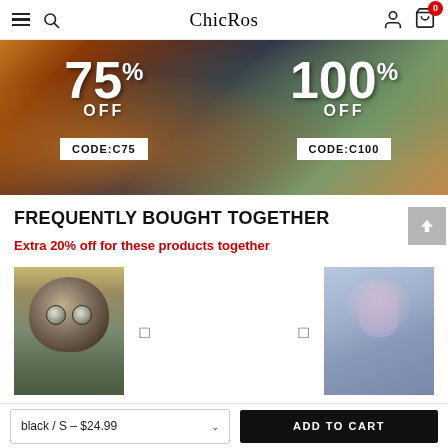ChicRos navigation bar with hamburger menu, search, logo, user and cart icons
[Figure (photo): Promotional banner showing 75% OFF with CODE:C75 and 100% OFF with CODE:C100 overlaid on a photo of a woman holding flowers]
FREQUENTLY BOUGHT TOGETHER
Extra 20% off for these products together
[Figure (photo): Product image of a cat-print sweatshirt (cat face design)]
[Figure (photo): Product image of a dragonfly-print sweatshirt]
black / S - $24.99
ADD TO CART